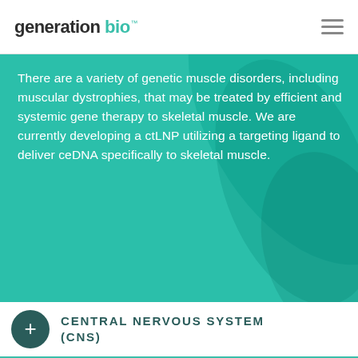[Figure (logo): generation bio logo with hamburger menu icon]
There are a variety of genetic muscle disorders, including muscular dystrophies, that may be treated by efficient and systemic gene therapy to skeletal muscle. We are currently developing a ctLNP utilizing a targeting ligand to deliver ceDNA specifically to skeletal muscle.
CENTRAL NERVOUS SYSTEM (CNS)